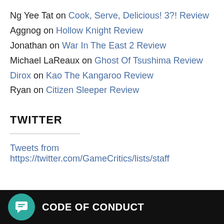Ng Yee Tat on Cook, Serve, Delicious! 3?! Review
Aggnog on Hollow Knight Review
Jonathan on War In The East 2 Review
Michael LaReaux on Ghost Of Tsushima Review
Dirox on Kao The Kangaroo Review
Ryan on Citizen Sleeper Review
TWITTER
Tweets from https://twitter.com/GameCritics/lists/staff
CODE OF CONDUCT